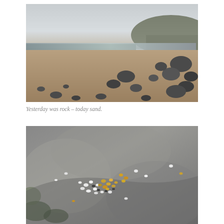[Figure (photo): A low-angle view of a rocky beach at low tide. Sandy foreground with scattered dark boulders and smaller stones. A shallow water channel reflects light in the middle distance. A green seaweed-covered flat rock shelf is visible, with a rocky hillside and overcast grey sky in the background.]
Yesterday was rock – today sand.
[Figure (photo): Close-up macro photograph of a rough grey rock surface with many small pebbles and shell fragments scattered across it. The pebbles are a mix of white, yellow, orange, and dark coloured stones, concentrated in clusters, with some green algae visible at the edges.]